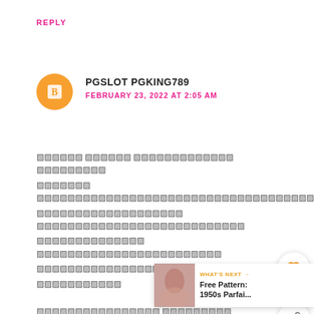REPLY
PGSLOT PGKING789
FEBRUARY 23, 2022 AT 2:05 AM
[Thai/encoded text body — multiple lines of comment content]
[Figure (other): Heart reaction button with count 5 and share button overlay]
WHAT'S NEXT → Free Pattern: 1950s Parfai...